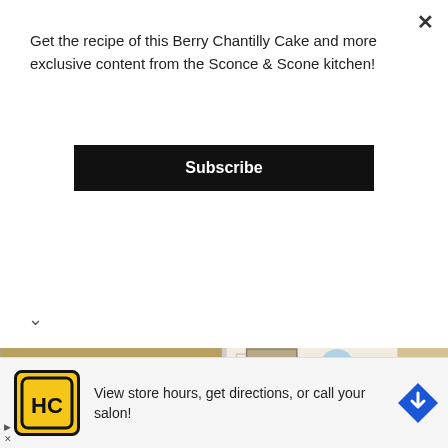Get the recipe of this Berry Chantilly Cake and more exclusive content from the Sconce & Scone kitchen!
Subscribe
[Figure (photo): Four brownies cut into squares viewed from above, with a crumbly, powdery top surface]
[Figure (photo): Round cake dusted with powdered sugar with rosemary sprigs on top, viewed from above on a plate]
[Figure (photo): Penne pasta with broccoli, labelled 400 CALORIE]
[Figure (photo): Person wearing light blue hijab and outfit standing in a light-colored room]
View store hours, get directions, or call your salon!